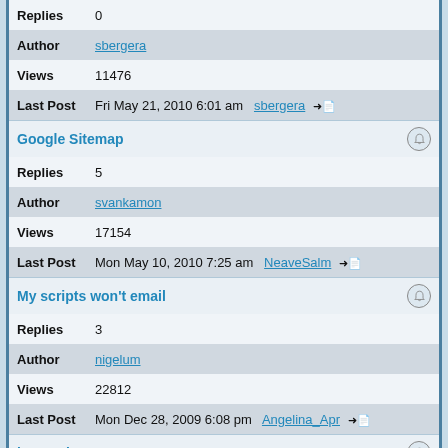Replies 0
Author sbergera
Views 11476
Last Post Fri May 21, 2010 6:01 am sbergera
Google Sitemap
Replies 5
Author svankamon
Views 17154
Last Post Mon May 10, 2010 7:25 am NeaveSalm
My scripts won't email
Replies 3
Author nigelum
Views 22812
Last Post Mon Dec 28, 2009 6:08 pm Angelina_Apr
leveraging FastCGI -- How?
Replies 7
Author ccs
Views 28639
Last Post Sat Oct 31, 2009 7:06 am CoastResearch